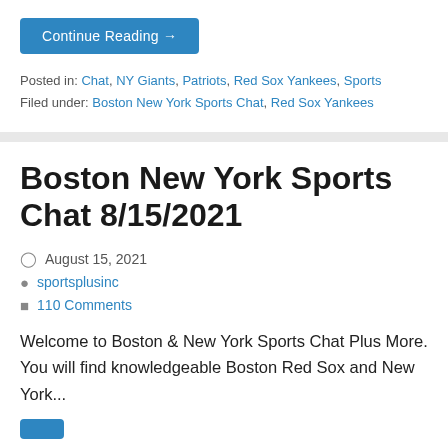Continue Reading →
Posted in: Chat, NY Giants, Patriots, Red Sox Yankees, Sports
Filed under: Boston New York Sports Chat, Red Sox Yankees
Boston New York Sports Chat 8/15/2021
August 15, 2021
sportsplusinc
110 Comments
Welcome to Boston & New York Sports Chat Plus More. You will find knowledgeable Boston Red Sox and New York...